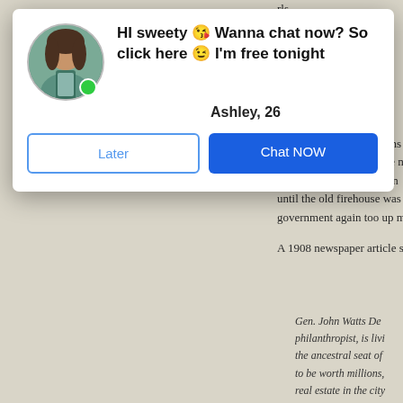[Figure (screenshot): A pop-up chat advertisement overlay on top of a book/article page. The popup shows a woman's photo avatar with a green online indicator, bold text reading 'HI sweety 😘 Wanna chat now? So click here 😉 I'm free tonight', the name 'Ashley, 26', and two buttons: 'Later' (outlined blue) and 'Chat NOW' (solid blue). Behind the popup, partial text from the underlying article is visible on the right side.]
mayor–his own son, Johns and DePeyster barred the m forcing the village govern until the old firehouse was government again too up m
A 1908 newspaper article s
Gen. John Watts De philanthropist, is livi the ancestral seat of to be worth millions, real estate in the city possession of his fam himself from his kin